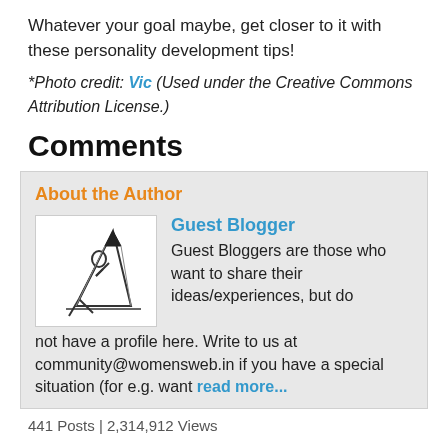Whatever your goal maybe, get closer to it with these personality development tips!
*Photo credit: Vic (Used under the Creative Commons Attribution License.)
Comments
About the Author
[Figure (illustration): Stick figure drawing of a person writing with a large pencil]
Guest Blogger
Guest Bloggers are those who want to share their ideas/experiences, but do not have a profile here. Write to us at community@womensweb.in if you have a special situation (for e.g. want read more...
441 Posts | 2,314,912 Views